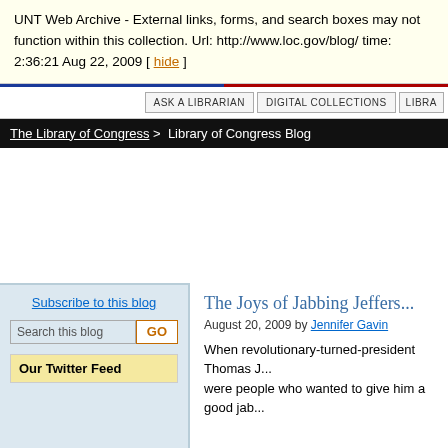UNT Web Archive - External links, forms, and search boxes may not function within this collection. Url: http://www.loc.gov/blog/ time: 2:36:21 Aug 22, 2009 [ hide ]
[Figure (screenshot): Navigation bar with ASK A LIBRARIAN, DIGITAL COLLECTIONS, LIBRA... buttons]
The Library of Congress > Library of Congress Blog
Subscribe to this blog
Search this blog
Our Twitter Feed
The Joys of Jabbing Jeffers...
August 20, 2009 by Jennifer Gavin
When revolutionary-turned-president Thomas J... were people who wanted to give him a good jab...